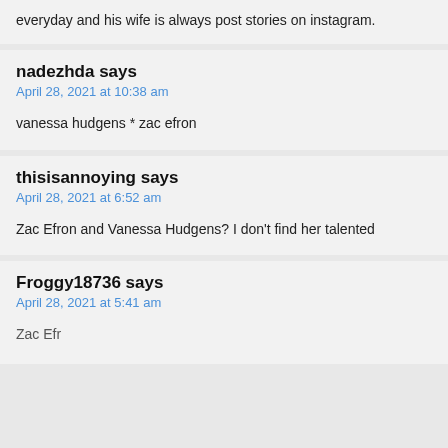everyday and his wife is always post stories on instagram.
nadezhda says
April 28, 2021 at 10:38 am

vanessa hudgens * zac efron
thisisannoying says
April 28, 2021 at 6:52 am

Zac Efron and Vanessa Hudgens? I don’t find her talented
Froggy18736 says
April 28, 2021 at 5:41 am